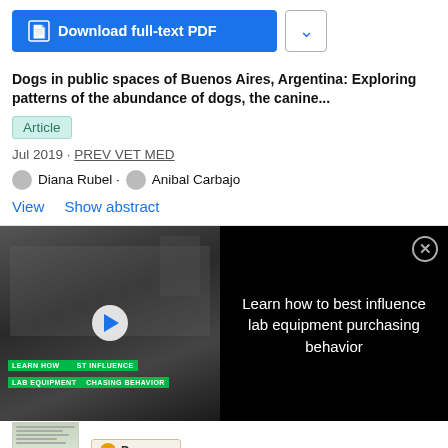[Figure (screenshot): Download full-text PDF button (blue) and chevron dropdown button]
Dogs in public spaces of Buenos Aires, Argentina: Exploring patterns of the abundance of dogs, the canine...
Article
Jul 2019 · PREV VET MED
Diana Rubel · Anibal Carbajo
View  Show abstract
[Figure (screenshot): Video player showing lab equipment with overlay text: Learn how to best influence lab equipment purchasing behavior. Green banner text: LEARN HOW ST INFLUENCE LAB EQUIPMENT CHASING BEHAVIOR. Play button in center. Close button (X) top right.]
[Figure (screenshot): Advertisement: Promega logo with Custom Master Mixes: Your Ideas, Your Way. Thumbnail image of document on left.]